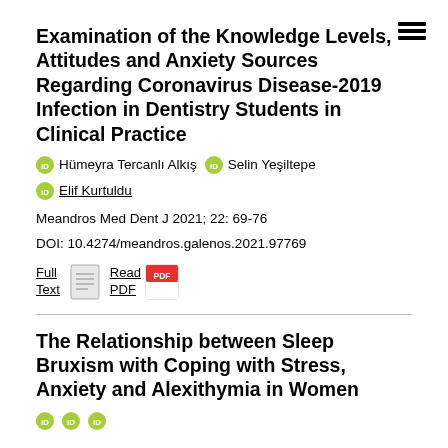Examination of the Knowledge Levels, Attitudes and Anxiety Sources Regarding Coronavirus Disease-2019 Infection in Dentistry Students in Clinical Practice
Hümeyra Tercanlı Alkış   Selin Yeşiltepe   Elif Kurtuldu
Meandros Med Dent J 2021; 22: 69-76
DOI: 10.4274/meandros.galenos.2021.97769
Full Text   Read PDF
The Relationship between Sleep Bruxism with Coping with Stress, Anxiety and Alexithymia in Women
Authors row (partially visible)